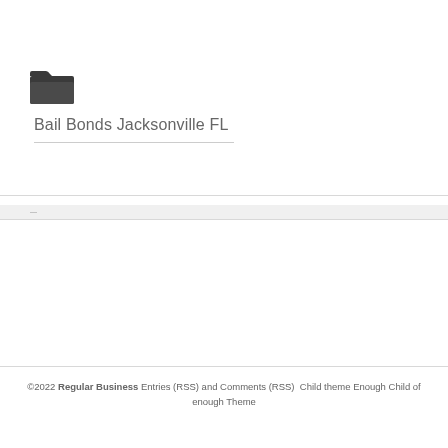[Figure (illustration): Dark folder icon (open folder) in dark gray/black]
Bail Bonds Jacksonville FL
©2022 Regular Business Entries (RSS) and Comments (RSS)  Child theme Enough Child of enough Theme